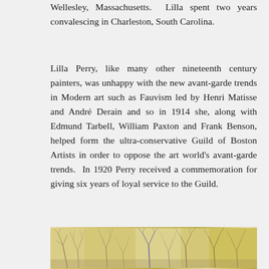Wellesley, Massachusetts.  Lilla spent two years convalescing in Charleston, South Carolina.
Lilla Perry, like many other nineteenth century painters, was unhappy with the new avant-garde trends in Modern art such as Fauvism led by Henri Matisse and André Derain and so in 1914 she, along with Edmund Tarbell, William Paxton and Frank Benson, helped form the ultra-conservative Guild of Boston Artists in order to oppose the art world's avant-garde trends.  In 1920 Perry received a commemoration for giving six years of loyal service to the Guild.
[Figure (illustration): Bottom portion of a painting showing bare winter trees with thin branches against a pale yellowish background, partially cropped.]